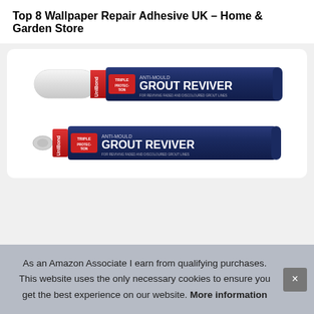Top 8 Wallpaper Repair Adhesive UK – Home & Garden Store
[Figure (photo): Two UniBond Anti-Mould Triple Protection Grout Reviver marker pens shown side by side — one with cap on (top) and one uncapped showing the tip (bottom). Both are dark navy blue with red and white branding.]
As an Amazon Associate I earn from qualifying purchases. This website uses the only necessary cookies to ensure you get the best experience on our website. More information